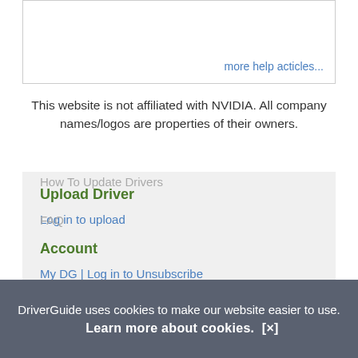more help acticles...
This website is not affiliated with NVIDIA. All company names/logos are properties of their owners.
Upload Driver
Log in to upload
Account
My DG | Log in to Unsubscribe
Site
Support
How To Update Drivers
FAQ
DriverGuide uses cookies to make our website easier to use. Learn more about cookies. [×]